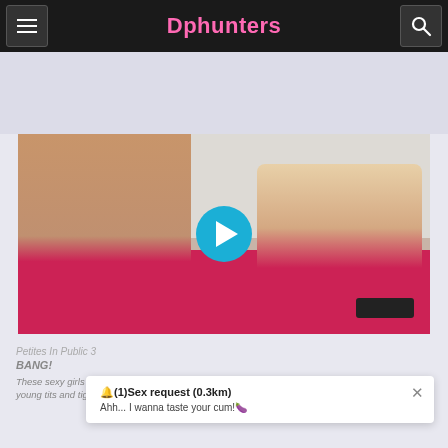Dphunters
[Figure (screenshot): Video thumbnail showing adult content with a play button overlay]
Petites In Public 3
BANG!
These sexy girls love having fun and they're not afraid to show it! And by it we mean their perfect young tits and tight, wet pussy! That's right! These
🔔(1)Sex request (0.3km)
Ahh... I wanna taste your cum!🍆